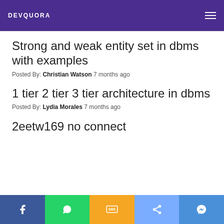DEVQUORA
Strong and weak entity set in dbms with examples
Posted By: Christian Watson 7 months ago
1 tier 2 tier 3 tier architecture in dbms
Posted By: Lydia Morales 7 months ago
2eetw169 no connect